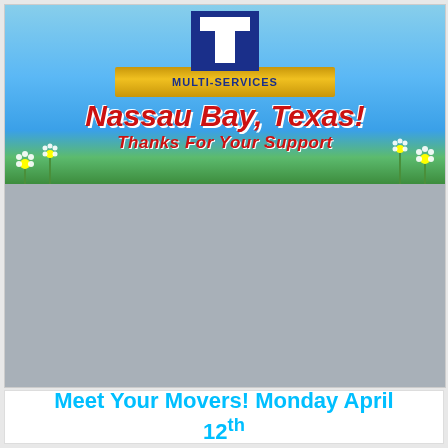[Figure (illustration): IT Multi-Services banner advertisement for Nassau Bay, Texas. Shows a blue sky background with flowers, a blue logo box with 'IT' letters, a gold ribbon banner reading 'MULTI-SERVICES', large red italic text reading 'Nassau Bay, Texas!', and red bold italic text reading 'THANKS FOR YOUR SUPPORT'. Below the banner is a gray placeholder area.]
Meet Your Movers! Monday April 12th